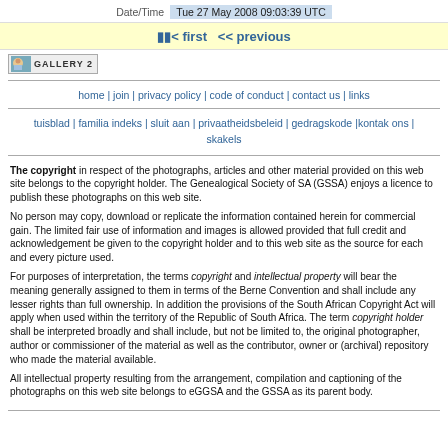Date/Time   Tue 27 May 2008 09:03:39 UTC
◀◀ first ◀◀ previous
[Figure (logo): Gallery 2 logo with icon]
home | join | privacy policy | code of conduct | contact us | links
tuisblad | familia indeks | sluit aan | privaatheidsbeleid | gedragskode |kontak ons | skakels
The copyright in respect of the photographs, articles and other material provided on this web site belongs to the copyright holder. The Genealogical Society of SA (GSSA) enjoys a licence to publish these photographs on this web site.
No person may copy, download or replicate the information contained herein for commercial gain. The limited fair use of information and images is allowed provided that full credit and acknowledgement be given to the copyright holder and to this web site as the source for each and every picture used.
For purposes of interpretation, the terms copyright and intellectual property will bear the meaning generally assigned to them in terms of the Berne Convention and shall include any lesser rights than full ownership. In addition the provisions of the South African Copyright Act will apply when used within the territory of the Republic of South Africa. The term copyright holder shall be interpreted broadly and shall include, but not be limited to, the original photographer, author or commissioner of the material as well as the contributor, owner or (archival) repository who made the material available.
All intellectual property resulting from the arrangement, compilation and captioning of the photographs on this web site belongs to eGGSA and the GSSA as its parent body.